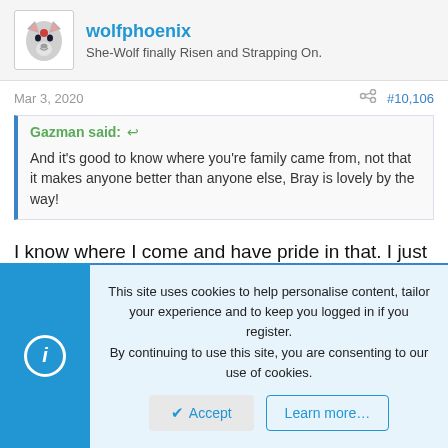wolfphoenix — She-Wolf finally Risen and Strapping On.
Mar 3, 2020  #10,106
Gazman said: And it's good to know where you're family came from, not that it makes anyone better than anyone else, Bray is lovely by the way!
I know where I come and have pride in that. I just don't ever want to verbally bash people over the head with it. 🙂
This site uses cookies to help personalise content, tailor your experience and to keep you logged in if you register. By continuing to use this site, you are consenting to our use of cookies.